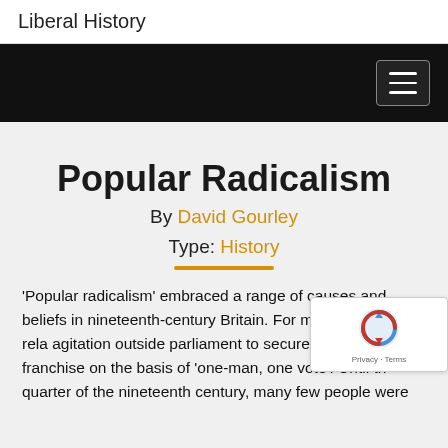Liberal History
[Figure (screenshot): Black navigation bar with hamburger menu icon (three horizontal white lines) in a bordered box on the right side]
Popular Radicalism
By David Gourley
Type: History
'Popular radicalism' embraced a range of causes and beliefs in nineteenth-century Britain. For most readers, it rela agitation outside parliament to secure a democratic franchise on the basis of 'one-man, one vote'. Until th quarter of the nineteenth century, many few people were